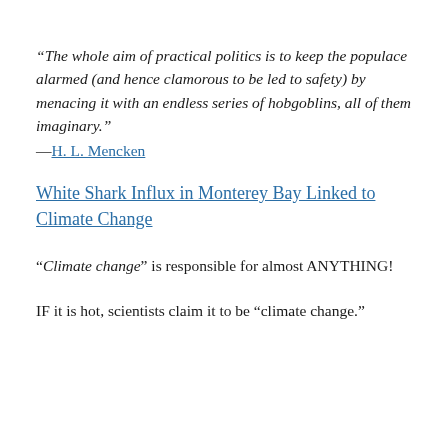“The whole aim of practical politics is to keep the populace alarmed (and hence clamorous to be led to safety) by menacing it with an endless series of hobgoblins, all of them imaginary.”
—H. L. Mencken
White Shark Influx in Monterey Bay Linked to Climate Change
“Climate change” is responsible for almost ANYTHING!
IF it is hot, scientists claim it to be “climate change.”